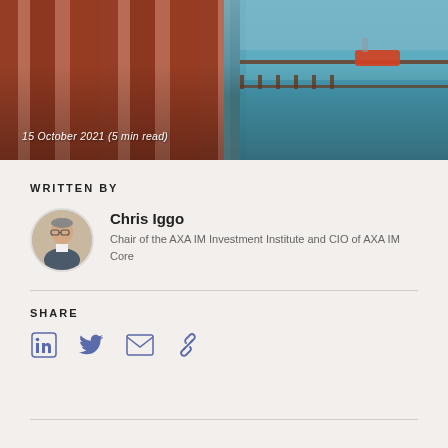[Figure (photo): Hero image showing a red wooden corridor/pavilion with ornate columns on the left side and a harbor/water view with a boat on the right side. Date overlay reads: 15 October 2021 (5 min read)]
WRITTEN BY
Chris Iggo
Chair of the AXA IM Investment Institute and CIO of AXA IM Core
SHARE